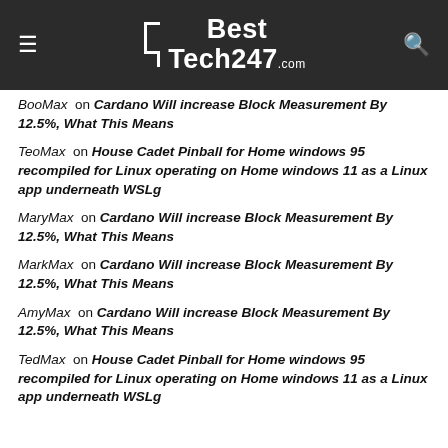BestTech247.com
BooMax on Cardano Will increase Block Measurement By 12.5%, What This Means
TeoMax on House Cadet Pinball for Home windows 95 recompiled for Linux operating on Home windows 11 as a Linux app underneath WSLg
MaryMax on Cardano Will increase Block Measurement By 12.5%, What This Means
MarkMax on Cardano Will increase Block Measurement By 12.5%, What This Means
AmyMax on Cardano Will increase Block Measurement By 12.5%, What This Means
TedMax on House Cadet Pinball for Home windows 95 recompiled for Linux operating on Home windows 11 as a Linux app underneath WSLg